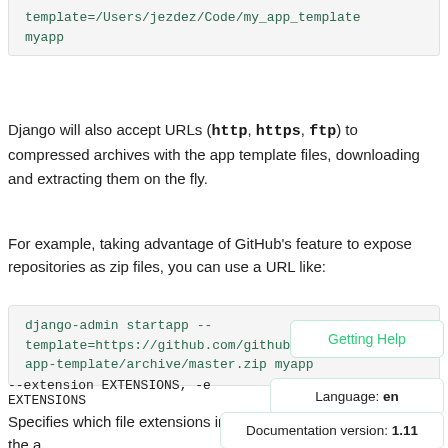template=/Users/jezdez/Code/my_app_template myapp
Django will also accept URLs (http, https, ftp) to compressed archives with the app template files, downloading and extracting them on the fly.
For example, taking advantage of GitHub's feature to expose repositories as zip files, you can use a URL like:
django-admin startapp --template=https://github.com/githubuser/django-app-template/archive/master.zip myapp
--extension EXTENSIONS, -e EXTENSIONS
Specifies which file extensions in the a... rendered with the template engine. De...
Getting Help
Language: en
Documentation version: 1.11